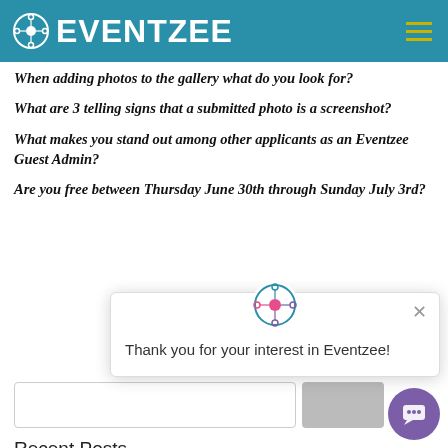EVENTZEE
When adding photos to the gallery what do you look for?
What are 3 telling signs that a submitted photo is a screenshot?
What makes you stand out among other applicants as an Eventzee Guest Admin?
Are you free between Thursday June 30th through Sunday July 3rd?
[Figure (screenshot): Popup widget with Eventzee logo and text: Thank you for your interest in Eventzee!]
Recent Posts
McKinney Parks & Rec Launched 2022 RecQuest with